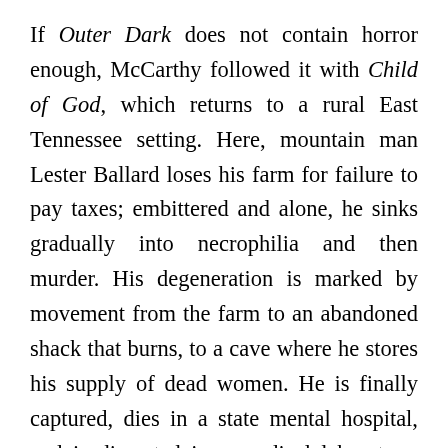If Outer Dark does not contain horror enough, McCarthy followed it with Child of God, which returns to a rural East Tennessee setting. Here, mountain man Lester Ballard loses his farm for failure to pay taxes; embittered and alone, he sinks gradually into necrophilia and then murder. His degeneration is marked by movement from the farm to an abandoned shack that burns, to a cave where he stores his supply of dead women. He is finally captured, dies in a state mental hospital, and is dissected in a medical laboratory. His neighbors, whose choruslike, folksy comments are interspersed throughout the story, always